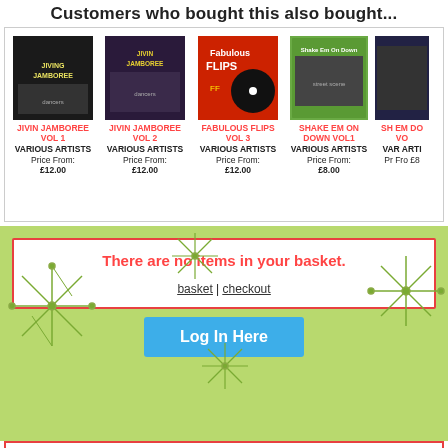Customers who bought this also bought...
[Figure (other): Product listing showing 5 album covers (partially visible) with titles, artists, and prices: Jivin Jamboree Vol 1, Jivin Jamboree Vol 2, Fabulous Flips Vol 3, Shake Em On Down Vol1, Shake Em On Down Vol (cut off)]
There are no items in your basket.
basket | checkout
Log In Here
OTHER ITEMS...